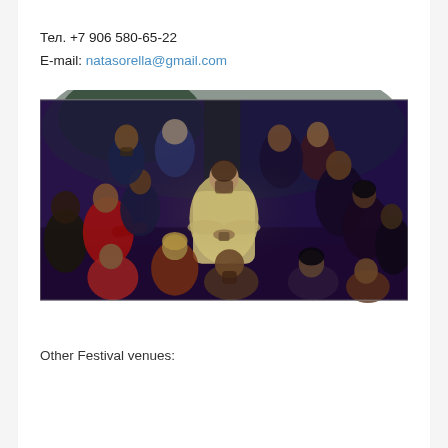Тел. +7 906 580-65-22
E-mail: natasorella@gmail.com
[Figure (illustration): Oil painting depicting a group of about 12-13 people gathered in a dimly lit interior space. A central figure in light/beige robes sits cross-legged in the middle, holding something, surrounded by other figures. The scene is reminiscent of a Last Supper or religious gathering composition. Colors are dark purples, blues, reds and earth tones.]
Other Festival venues: